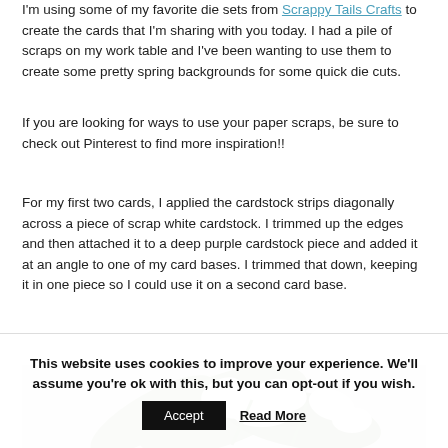I'm using some of my favorite die sets from Scrappy Tails Crafts to create the cards that I'm sharing with you today.  I had a pile of scraps on my work table and I've been wanting to use them to create some pretty spring backgrounds for some quick die cuts.
If you are looking for ways to use your paper scraps, be sure to check out Pinterest to find more inspiration!!
For my first two cards, I applied the cardstock strips diagonally across a piece of scrap white cardstock.  I trimmed up the edges and then attached it to a deep purple cardstock piece and added it at an angle to one of my card bases.  I trimmed that down, keeping it in one piece so I could use it on a second card base.
[Figure (photo): Photo of white flowers with green leaves on a marble surface]
This website uses cookies to improve your experience. We'll assume you're ok with this, but you can opt-out if you wish. Accept  Read More